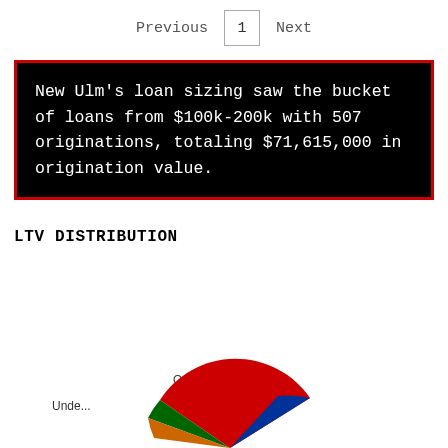Previous  1  Next
New Ulm's loan sizing saw the bucket of loans from $100k-200k with 507 originations, totaling $71,615,000 in origination value.
LTV DISTRIBUTION
[Figure (pie-chart): Partial pie chart showing LTV distribution with visible labels: Over 100%, Unde... (Under 80%?). Chart is cropped at the bottom of the page.]